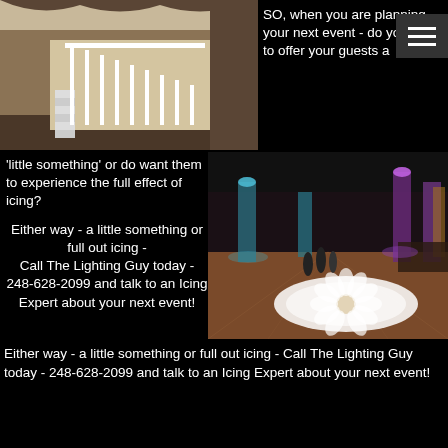[Figure (photo): Interior photo of a building staircase with white railings and dark wood paneling]
SO, when you are planning your next event - do you want to offer your guests a
'little something' or do want them to experience the full effect of icing?

Either way - a little something or full out icing - Call The Lighting Guy today - 248-628-2099 and talk to an Icing Expert about your next event!
[Figure (photo): Event hall with colorful uplighting in teal and purple, and an ornate floral gobo pattern projected on the dance floor]
Either way - a little something or full out icing - Call The Lighting Guy today - 248-628-2099 and talk to an Icing Expert about your next event!